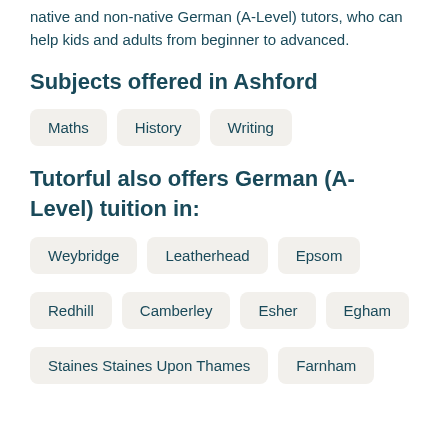native and non-native German (A-Level) tutors, who can help kids and adults from beginner to advanced.
Subjects offered in Ashford
Maths
History
Writing
Tutorful also offers German (A-Level) tuition in:
Weybridge
Leatherhead
Epsom
Redhill
Camberley
Esher
Egham
Staines Staines Upon Thames
Farnham